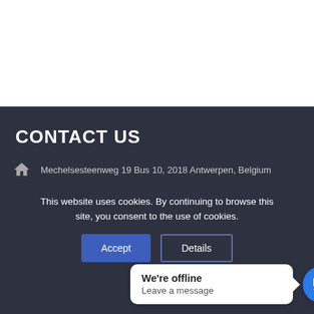[Figure (screenshot): White top section of a webpage]
CONTACT US
Mechelsesteenweg 19 Bus 10, 2018 Antwerpen, Belgium
This website uses cookies. By continuing to browse this site, you consent to the use of cookies.
Accept | Details
We're offline
Leave a message